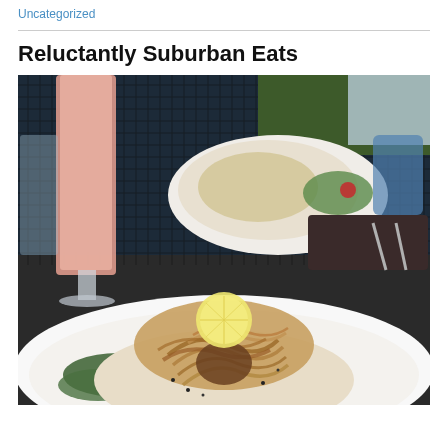Uncategorized
Reluctantly Suburban Eats
[Figure (photo): Restaurant table scene with a pink drink in a tall pilsner glass, a plate of pasta with salad in the background, and a close-up foreground plate of a breaded fish or meat dish topped with fried onion strings and a lemon slice, on a white plate with green herbs, set on a dark mesh outdoor table.]